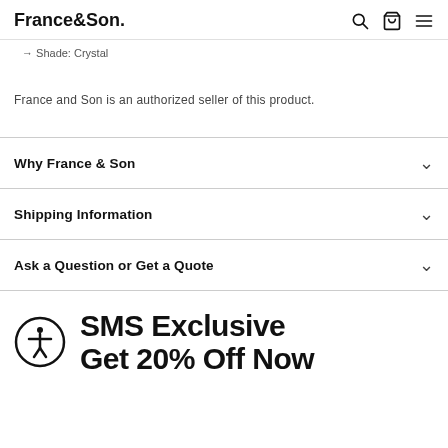France&Son
Shade: Crystal
France and Son is an authorized seller of this product.
Why France & Son
Shipping Information
Ask a Question or Get a Quote
SMS Exclusive
Get 20% Off Now